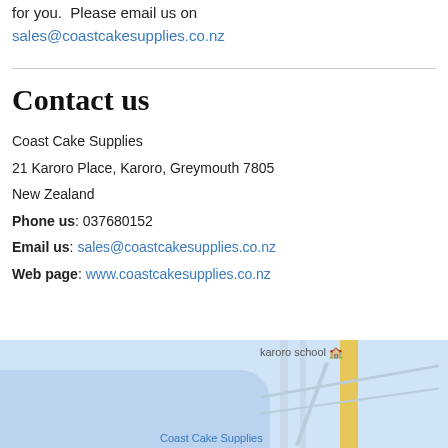for you.  Please email us on
sales@coastcakesupplies.co.nz
Contact us
Coast Cake Supplies
21 Karoro Place, Karoro, Greymouth 7805
New Zealand
Phone us: 037680152
Email us: sales@coastcakesupplies.co.nz
Web page: www.coastcakesupplies.co.nz
[Figure (map): Google Maps embed showing location near Karoro School, with Coast Cake Supplies label and a road with yellow highlight]